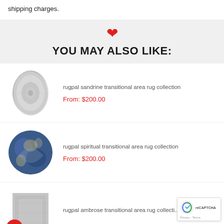shipping charges.
YOU MAY ALSO LIKE:
rugpal sandrine transitional area rug collection
From: $200.00
rugpal spiritual transitional area rug collection
From: $200.00
rugpal ambrose transitional area rug collecti...